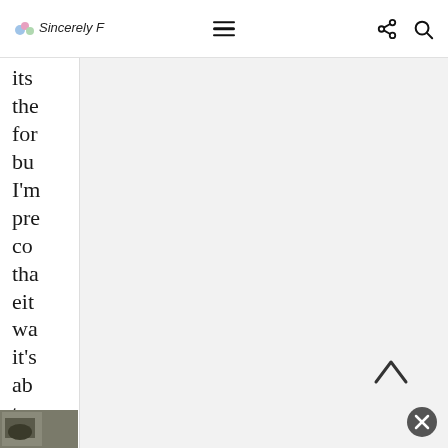Sincerely [logo] | navigation menu | share | search
its the for bu I'm pre co the eit wa it's ab to ge be